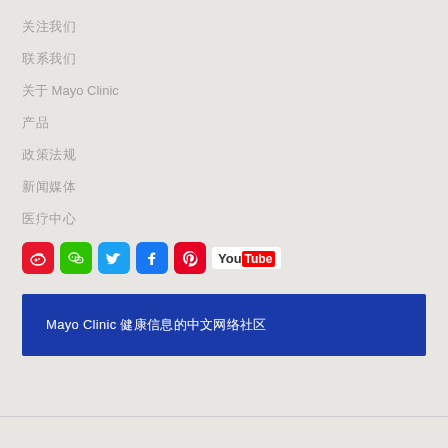关注我们
联系我们
关于 Mayo Clinic
产品
政策法规
新闻媒体
医疗中心
[Figure (infographic): Social media icons row: Weibo, WeChat, Twitter, Facebook, Pinterest, YouTube]
Mayo Clinic 健康信息的中文网络社区
本网站上的信息不能替代专业的医疗建议、诊断或治疗